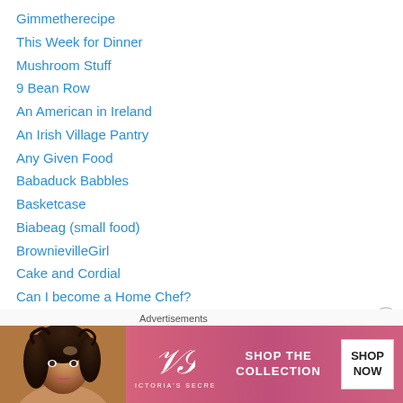Gimmetherecipe
This Week for Dinner
Mushroom Stuff
9 Bean Row
An American in Ireland
An Irish Village Pantry
Any Given Food
Babaduck Babbles
Basketcase
Biabeag (small food)
BrownievilleGirl
Cake and Cordial
Can I become a Home Chef?
Carolanne's Kitchen
CheapEats.ie
Cheeky Cooks
Advertisements
[Figure (photo): Victoria's Secret advertisement banner with a woman's photo on the left, VS logo in center, 'SHOP THE COLLECTION' text, and a 'SHOP NOW' button on the right, on a pink/red gradient background.]